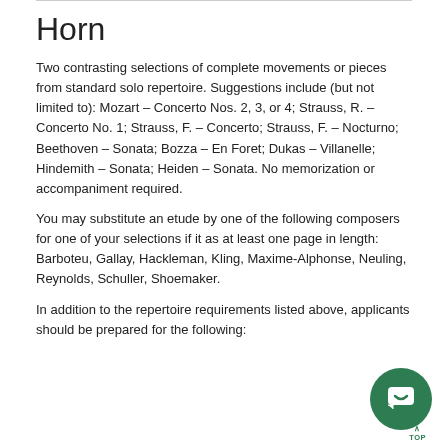Horn
Two contrasting selections of complete movements or pieces from standard solo repertoire. Suggestions include (but not limited to): Mozart – Concerto Nos. 2, 3, or 4; Strauss, R. – Concerto No. 1; Strauss, F. – Concerto; Strauss, F. – Nocturno; Beethoven – Sonata; Bozza – En Foret; Dukas – Villanelle; Hindemith – Sonata; Heiden – Sonata. No memorization or accompaniment required.
You may substitute an etude by one of the following composers for one of your selections if it as at least one page in length: Barboteu, Gallay, Hackleman, Kling, Maxime-Alphonse, Neuling, Reynolds, Schuller, Shoemaker.
In addition to the repertoire requirements listed above, applicants should be prepared for the following: